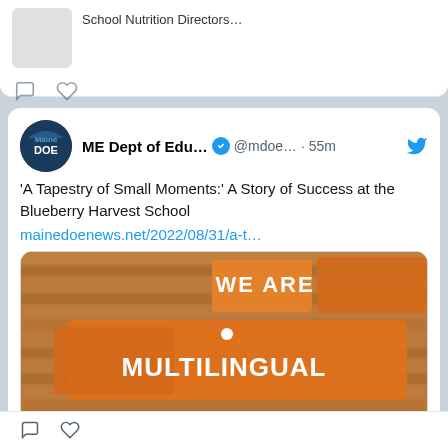School Nutrition Directors…
[Figure (screenshot): Social media icons: comment bubble and heart]
ME Dept of Edu… ✓ @mdoe… · 55m
'A Tapestry of Small Moments:' A Story of Success at the Blueberry Harvest School
mainedoenews.net/2022/08/31/a-t…
[Figure (photo): Photo of a wooden wall with painted signs reading 'WE ARE MULTILINGUAL']
mainedoenews.net
'A Tapestry of Small Moments:' A Story of Success at the Blueberry Harvest School